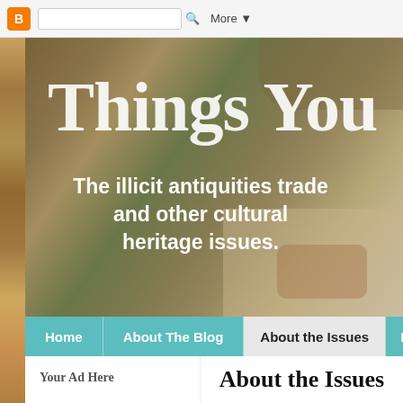[Figure (screenshot): Blogger toolbar with orange Blogger icon, search bar, and More dropdown button]
[Figure (photo): Blog header hero image showing archaeological artifacts with large text 'Things You' and subtitle 'The illicit antiquities trade and other cultural heritage issues.']
[Figure (screenshot): Navigation bar with tabs: Home, About The Blog, About the Issues (active), and partial B tab]
Your Ad Here
About the Issues